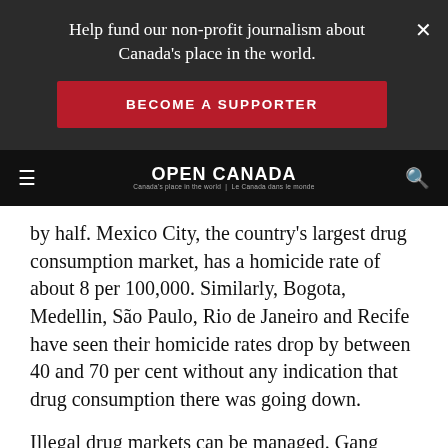Help fund our non-profit journalism about Canada's place in the world.
BECOME A SUPPORTER
OPEN CANADA — Canada's place in the world | Le Canada dans le monde
by half. Mexico City, the country's largest drug consumption market, has a homicide rate of about 8 per 100,000. Similarly, Bogota, Medellin, São Paulo, Rio de Janeiro and Recife have seen their homicide rates drop by between 40 and 70 per cent without any indication that drug consumption there was going down.
Illegal drug markets can be managed. Gang